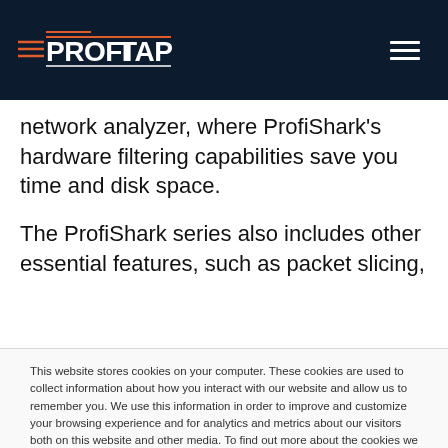[Figure (logo): ProfiTap logo with horizontal lines and brand name in white on dark navy background, with hamburger menu icon on the right]
network analyzer, where ProfiShark's hardware filtering capabilities save you time and disk space.
The ProfiShark series also includes other essential features, such as packet slicing,
This website stores cookies on your computer. These cookies are used to collect information about how you interact with our website and allow us to remember you. We use this information in order to improve and customize your browsing experience and for analytics and metrics about our visitors both on this website and other media. To find out more about the cookies we use, see our Privacy Policy.
Accept
Decline